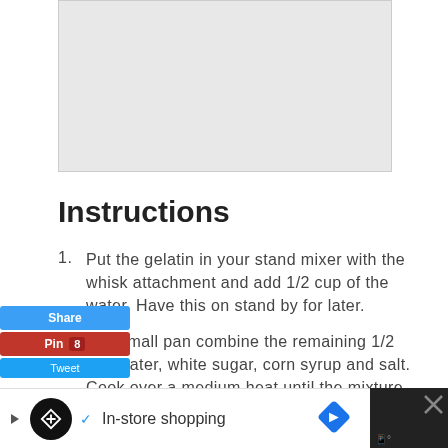[Figure (photo): Image placeholder area at top of page]
Instructions
Put the gelatin in your stand mixer with the whisk attachment and add 1/2 cup of the water. Have this on stand by for later.
In a small pan combine the remaining 1/2 cup water, white sugar, corn syrup and salt. Cook over a medium heat until the mixture reaches 240 degrees F, about 7 to 8 minutes. Once the mixture reaches this temperature remove it from the heat immediately.